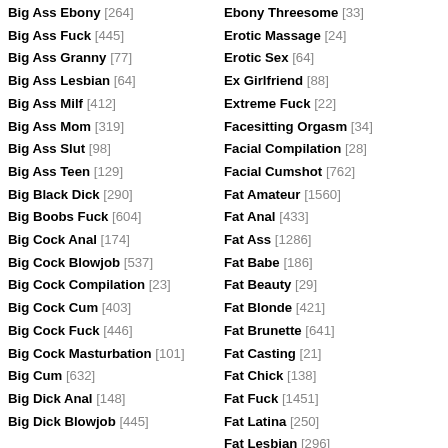Big Ass Ebony [264]
Big Ass Fuck [445]
Big Ass Granny [77]
Big Ass Lesbian [64]
Big Ass Milf [412]
Big Ass Mom [319]
Big Ass Slut [98]
Big Ass Teen [129]
Big Black Dick [290]
Big Boobs Fuck [604]
Big Cock Anal [174]
Big Cock Blowjob [537]
Big Cock Compilation [23]
Big Cock Cum [403]
Big Cock Fuck [446]
Big Cock Masturbation [101]
Big Cum [632]
Big Dick Anal [148]
Big Dick Blowjob [445]
Ebony Threesome [33]
Erotic Massage [24]
Erotic Sex [64]
Ex Girlfriend [88]
Extreme Fuck [22]
Facesitting Orgasm [34]
Facial Compilation [28]
Facial Cumshot [762]
Fat Amateur [1560]
Fat Anal [433]
Fat Ass [1286]
Fat Babe [186]
Fat Beauty [29]
Fat Blonde [421]
Fat Brunette [641]
Fat Casting [21]
Fat Chick [138]
Fat Fuck [1451]
Fat Latina [250]
Fat Lesbian [296]